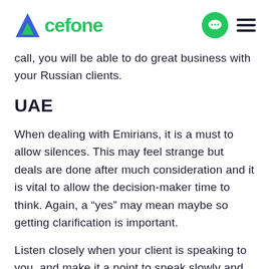Acefone
call, you will be able to do great business with your Russian clients.
UAE
When dealing with Emirians, it is a must to allow silences. This may feel strange but deals are done after much consideration and it is vital to allow the decision-maker time to think. Again, a “yes” may mean maybe so getting clarification is important.
Listen closely when your client is speaking to you, and make it a point to speak slowly and clearly so that you’re understood. And while asking after your